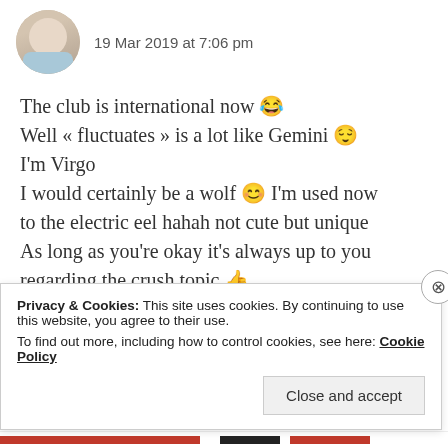19 Mar 2019 at 7:06 pm
The club is international now 😂
Well « fluctuates » is a lot like Gemini 😌
I'm Virgo
I would certainly be a wolf 😊 I'm used now to the electric eel hahah not cute but unique
As long as you're okay it's always up to you regarding the crush topic 👍
Thank you again for the sweet words and my pleasure always to have such nice 🧡
Privacy & Cookies: This site uses cookies. By continuing to use this website, you agree to their use.
To find out more, including how to control cookies, see here: Cookie Policy
Close and accept